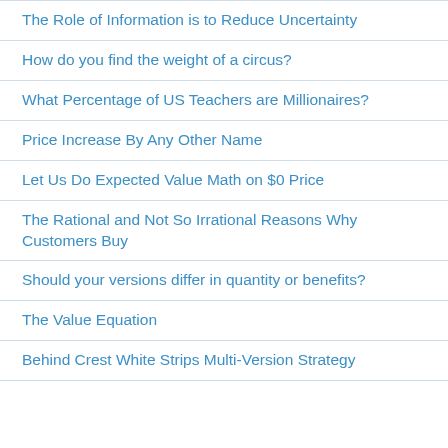The Role of Information is to Reduce Uncertainty
How do you find the weight of a circus?
What Percentage of US Teachers are Millionaires?
Price Increase By Any Other Name
Let Us Do Expected Value Math on $0 Price
The Rational and Not So Irrational Reasons Why Customers Buy
Should your versions differ in quantity or benefits?
The Value Equation
Behind Crest White Strips Multi-Version Strategy